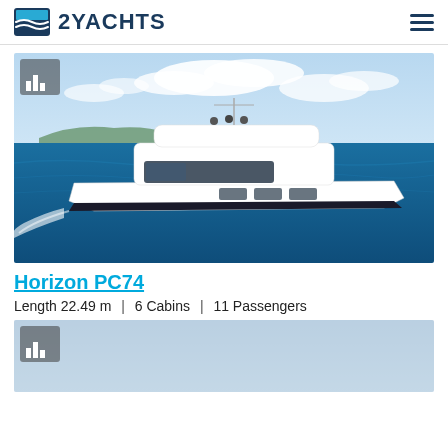2YACHTS
[Figure (photo): Aerial view of a large white motor catamaran yacht named Horizon PC74 cruising on blue ocean water with a partly cloudy sky in the background.]
Horizon PC74
Length 22.49 m  |  6 Cabins  |  11 Passengers
[Figure (photo): Partially visible yacht image with a light blue/grey sky background, beginning of a second listing entry.]